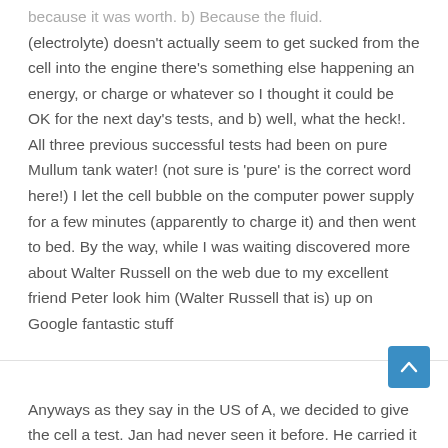because it was worth. b) Because the fluid (electrolyte) doesn't actually seem to get sucked from the cell into the engine there's something else happening an energy, or charge or whatever so I thought it could be OK for the next day's tests, and b) well, what the heck!. All three previous successful tests had been on pure Mullum tank water! (not sure is 'pure' is the correct word here!) I let the cell bubble on the computer power supply for a few minutes (apparently to charge it) and then went to bed. By the way, while I was waiting discovered more about Walter Russell on the web due to my excellent friend Peter look him (Walter Russell that is) up on Google fantastic stuff
Anyways as they say in the US of A, we decided to give the cell a test. Jan had never seen it before. He carried it